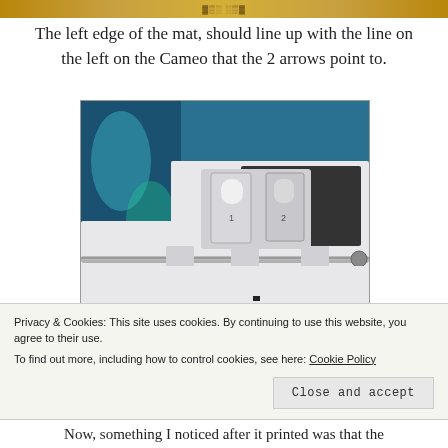[Figure (other): Decorative banner at top of page with gradient pattern]
The left edge of the mat, should line up with the line on the left on the Cameo that the 2 arrows point to.
[Figure (photo): Close-up photo of Silhouette Cameo cutting machine interior showing tool holders, cutting rod, and a red arrow pointing to alignment marks on the machine bed. Decorative stickers visible on the machine.]
Privacy & Cookies: This site uses cookies. By continuing to use this website, you agree to their use.
To find out more, including how to control cookies, see here: Cookie Policy
Now, something I noticed after it printed was that the